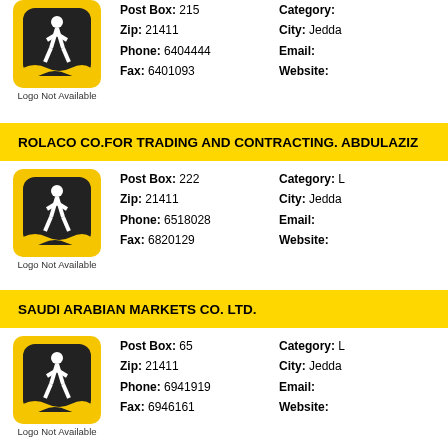[Figure (logo): Logo Not Available placeholder image with yellow background and black figure icon]
Post Box: 215, Zip: 21411, Phone: 6404444, Fax: 6401093, Category: , City: Jedda, Email: , Website:
ROLACO CO.FOR TRADING AND CONTRACTING. ABDULAZIZ
[Figure (logo): Logo Not Available placeholder image with yellow background and black figure icon]
Post Box: 222, Zip: 21411, Phone: 6518028, Fax: 6820129, Category: L, City: Jedda, Email: , Website:
SAUDI ARABIAN MARKETS CO. LTD.
[Figure (logo): Logo Not Available placeholder image with yellow background and black figure icon]
Post Box: 65, Zip: 21411, Phone: 6941919, Fax: 6946161, Category: L, City: Jedda, Email: , Website: